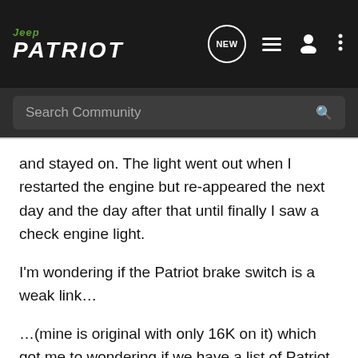Jeep PATRIOT — community app header with NEW, menu, user, and more icons
Search Community
and stayed on. The light went out when I restarted the engine but re-appeared the next day and the day after that until finally I saw a check engine light.
I'm wondering if the Patriot brake switch is a weak link…
…(mine is original with only 16K on it) which got me to wondering if we have a list of Patriot weak points by model year. I didn't see anything in the knowledge base and it seems like this would be a good resource our Admins could refer newbies to. For example, I imagine the throttle body would be listed for all model years.
While up in the mountains I checked that the electrical connector was engaged with the switch and then had an auto